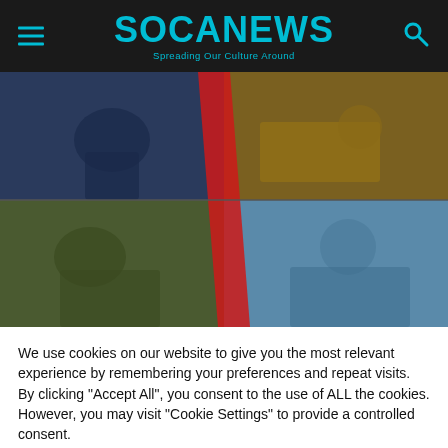SOCANEWS — Spreading Our Culture Around
[Figure (photo): A 2x2 collage of four images: top-left shows a soldier in blue-tinted camouflage, top-right shows a person working at a desk with yellow tint, bottom-left shows two soldiers in combat gear with green tint, bottom-right shows a smiling woman in a blue uniform with a laptop. A red diagonal stripe divides the images.]
We use cookies on our website to give you the most relevant experience by remembering your preferences and repeat visits. By clicking "Accept All", you consent to the use of ALL the cookies. However, you may visit "Cookie Settings" to provide a controlled consent.
Cookie Settings
Accept All